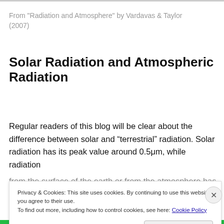From "Radiation and Atmosphere" by Vardavas & Taylor (2007)
Solar Radiation and Atmospheric Radiation
Regular readers of this blog will be clear about the difference between solar and “terrestrial” radiation. Solar radiation has its peak value around 0.5μm, while radiation from the surface of the earth or from the atmosphere has
Privacy & Cookies: This site uses cookies. By continuing to use this website, you agree to their use.
To find out more, including how to control cookies, see here: Cookie Policy